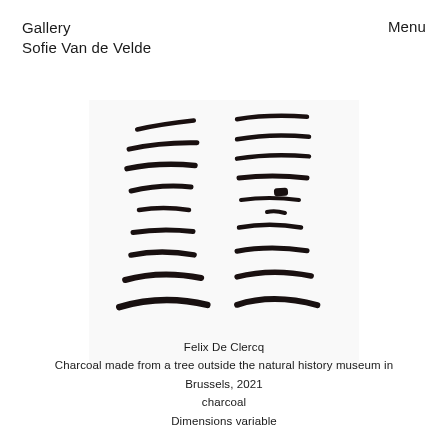Gallery
Sofie Van de Velde
Menu
[Figure (photo): Arrangement of dark charcoal sticks laid out in two vertical columns resembling a rib-cage pattern against a white background.]
Felix De Clercq
Charcoal made from a tree outside the natural history museum in Brussels, 2021
charcoal
Dimensions variable